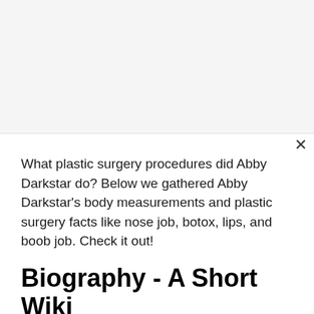What plastic surgery procedures did Abby Darkstar do? Below we gathered Abby Darkstar's body measurements and plastic surgery facts like nose job, botox, lips, and boob job. Check it out!
Biography - A Short Wiki
Abby Darkstar is a popular cosplayer from San Francisco area. She's known for her great costume as well as gorgeous body measurements. Aby has DD cups and most of the costumes are taking advantage of this fact. But one of her Poison Ivy costumes revelaed also her round butt cheeks.